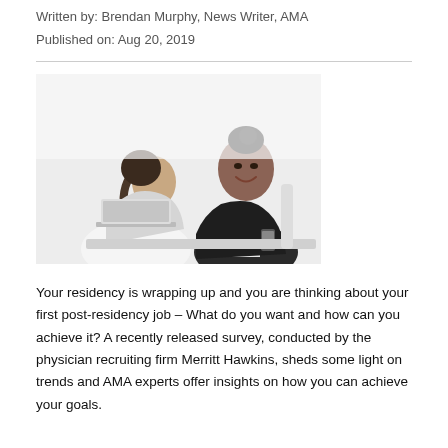Written by: Brendan Murphy, News Writer, AMA
Published on: Aug 20, 2019
[Figure (photo): Black and white photo of two women in a professional setting, one facing away with a ponytail using a laptop, the other facing forward smiling and holding a phone, appearing to have a conversation across a desk.]
Your residency is wrapping up and you are thinking about your first post-residency job – What do you want and how can you achieve it? A recently released survey, conducted by the physician recruiting firm Merritt Hawkins, sheds some light on trends and AMA experts offer insights on how you can achieve your goals.